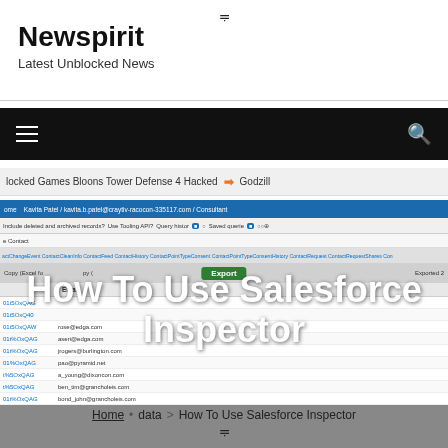Newspirit
Latest Unblocked News
[Figure (screenshot): Navigation bar with hamburger menu and search icon on black background]
locked Games Bloons Tower Defense 4 Hacked  ➔  Godzill
[Figure (screenshot): Salesforce Inspector browser extension screenshot showing data export interface with contact records and email addresses]
How To Use Salesforce Inspector
Home  data  >  How To Use Salesforce Inspector